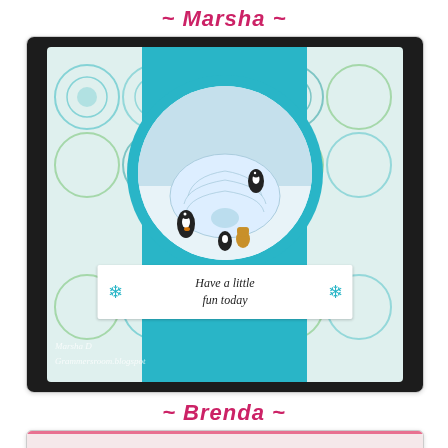~ Marsha ~
[Figure (photo): A handmade greeting card featuring penguins around an igloo on a circular die cut, with a teal/turquoise background strip, patterned paper with circular snowflake designs, and a sentiment banner reading 'Have a little fun today' with snowflake accents. Watermark reads 'Marsha D' and 'Grammersroom.blogspot']
~ Brenda ~
[Figure (photo): Partial view of Brenda's handmade card at the bottom of the page, showing a light colored card with pink elements]